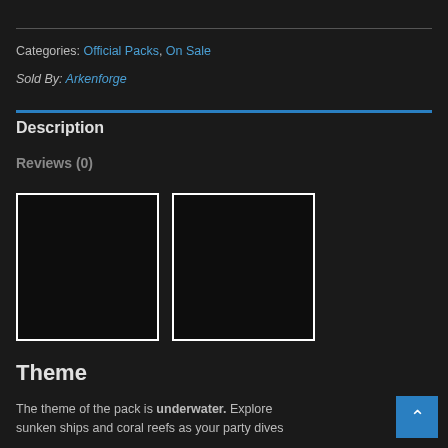Categories: Official Packs, On Sale
Sold By: Arkenforge
Description
Reviews (0)
[Figure (photo): Two dark/black image placeholder boxes side by side]
Theme
The theme of the pack is underwater. Explore sunken ships and coral reefs as your party dives